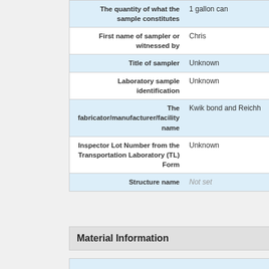| Field | Value |
| --- | --- |
| The quantity of what the sample constitutes | 1 gallon can |
| First name of sampler or witnessed by | Chris |
| Title of sampler | Unknown |
| Laboratory sample identification | Unknown |
| The fabricator/manufacturer/facility name | Kwik bond and Reichh |
| Inspector Lot Number from the Transportation Laboratory (TL) Form | Unknown |
| Structure name | Not set |
Material Information